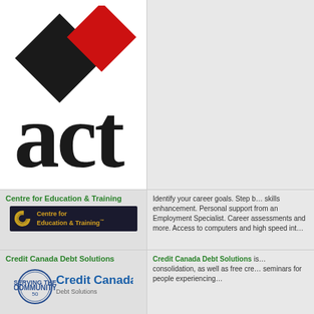[Figure (logo): ACT logo — two geometric diamonds (black and red) above large lowercase 'act' text]
[Figure (logo): Centre for Education & Training logo — dark background with gold concentric arcs and text]
Centre for Education & Training
Identify your career goals. Step by step skills enhancement. Personal support from an Employment Specialist. Career assessments and more. Access to computers and high speed int…
Credit Canada Debt Solutions
[Figure (logo): Credit Canada Debt Solutions logo — circular badge with '50' and text 'Credit Canada Debt Solutions']
Credit Canada Debt Solutions is … consolidation, as well as free cre… seminars for people experiencing…
Hong Fook Mental Health Association
[Figure (logo): Hong Fook Mental Health Association logo — red sun/flower symbol]
Hong Fook Mental Health Assoc… Southeast Asian communities.